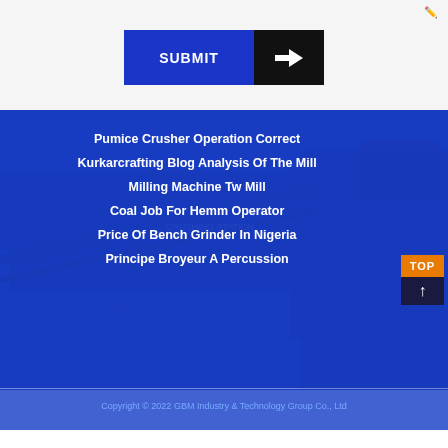[Figure (screenshot): Submit button with blue left panel labeled SUBMIT and black right panel with white arrow icon]
Pumice Crusher Operation Correct
Kurkarcrafting Blog Analysis Of The Mill
Milling Machine Tw Mill
Coal Job For Hemm Operator
Price Of Bench Grinder In Nigeria
Principe Broyeur A Percussion
Copyright © 2022 GBM Industry & Technology Group Co., Ltd